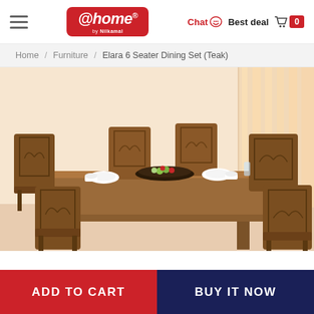@home by Nilkamal — Chat | Best deal | Cart 0
Home / Furniture / Elara 6 Seater Dining Set (Teak)
[Figure (photo): Elara 6 Seater Dining Set in Teak finish — a rectangular wooden dining table with 6 chairs featuring decorative arch-pattern backrests, set in a warm peach-toned room with sheer curtains in the background. A dark bowl with fruits and white dinnerware are on the table.]
ADD TO CART
BUY IT NOW